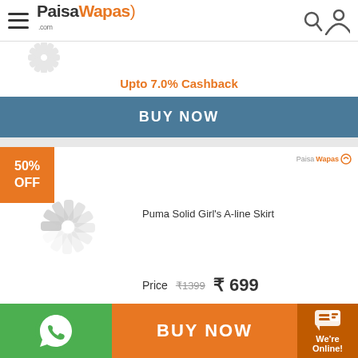PaisaWapas.com
Upto 7.0% Cashback
BUY NOW
50% OFF
Puma Solid Girl's A-line Skirt
Price ₹1399 ₹699
Product is at Best Price
BUY NOW
65%
BUY NOW
We're Online!